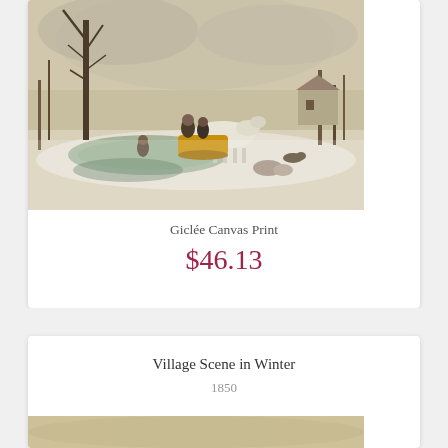[Figure (illustration): Winter landscape painting showing a horse-drawn sleigh with riders crossing a snowy scene, with bare trees and a cottage in the background under a cloudy sky]
Giclée Canvas Print
$46.13
Village Scene in Winter
1850
[Figure (illustration): Bottom portion of a second painting, partially visible]